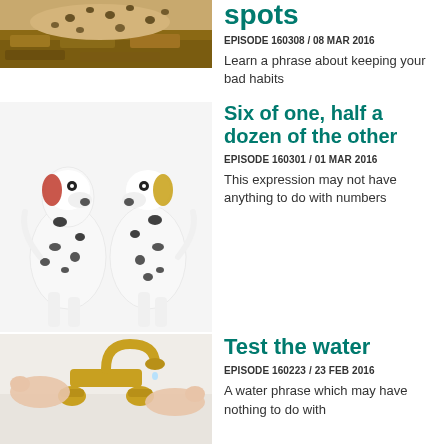[Figure (photo): Partial image of a cheetah or leopard on rocks, cropped at top]
spots
EPISODE 160308 / 08 MAR 2016
Learn a phrase about keeping your bad habits
[Figure (photo): Two Dalmatian dogs facing each other on white background]
Six of one, half a dozen of the other
EPISODE 160301 / 01 MAR 2016
This expression may not have anything to do with numbers
[Figure (photo): Hands adjusting golden faucet taps on a sink]
Test the water
EPISODE 160223 / 23 FEB 2016
A water phrase which may have nothing to do with